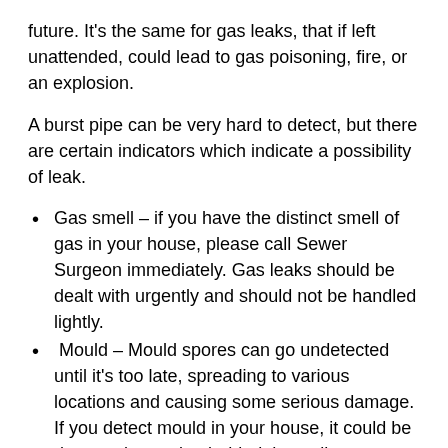future. It’s the same for gas leaks, that if left unattended, could lead to gas poisoning, fire, or an explosion.
A burst pipe can be very hard to detect, but there are certain indicators which indicate a possibility of leak.
Gas smell – if you have the distinct smell of gas in your house, please call Sewer Surgeon immediately. Gas leaks should be dealt with urgently and should not be handled lightly.
Mould – Mould spores can go undetected until it’s too late, spreading to various locations and causing some serious damage. If you detect mould in your house, it could be due to a burst pipe behind the wall.
Wall Stains – water from a burst pipe will leave discoloration on your walls and ceilings. This is a tell tale sign of a water leak and should be investigated immediately